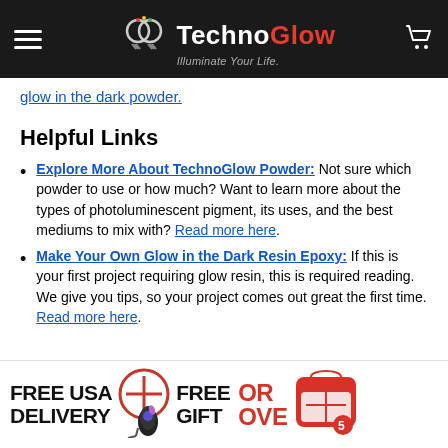TechnoGlow — Illuminate Your Life.
glow in the dark powder.
Helpful Links
Explore More About TechnoGlow Powder: Not sure which powder to use or how much? Want to learn more about the types of photoluminescent pigment, its uses, and the best mediums to mix with? Read more here.
Make Your Own Glow in the Dark Resin Epoxy: If this is your first project requiring glow resin, this is required reading. We give you tips, so your project comes out great the first time. Read more here.
[Figure (infographic): Banner showing FREE USA DELIVERY + FREE GIFT ORD OVER $5 with UV keychain image and shopping bag icon]